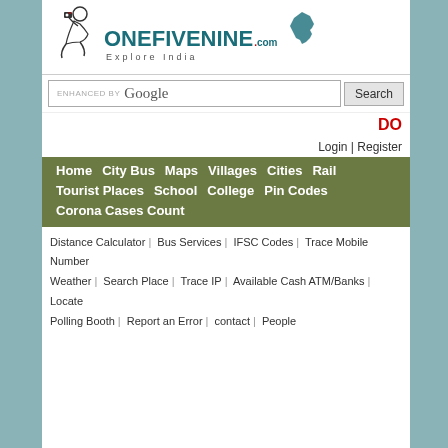[Figure (logo): OneFiveNine.com Explore India logo with sitting person illustration and India map silhouette]
ENHANCED BY Google Search
DO Login | Register
Home  City Bus  Maps  Villages  Cities  Rail  Tourist Places  School  College  Pin Codes  Corona Cases Count
Distance Calculator  Bus Services  IFSC Codes  Trace Mobile Number  Weather  Search Place  Trace IP  Available Cash ATM/Banks  Locate Polling Booth  Report an Error  contact  People